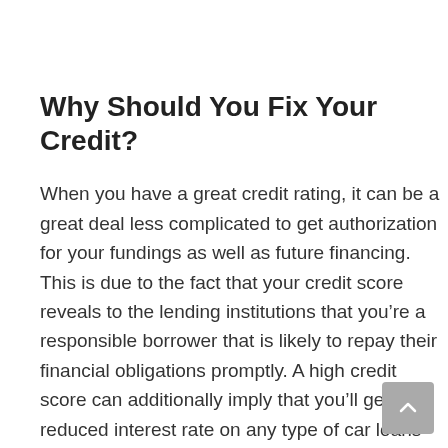Why Should You Fix Your Credit?
When you have a great credit rating, it can be a great deal less complicated to get authorization for your fundings as well as future financing. This is due to the fact that your credit score reveals to the lending institutions that you’re a responsible borrower that is likely to repay their financial obligations promptly. A high credit score can additionally imply that you’ll get a reduced interest rate on any type of car loans you obtain.